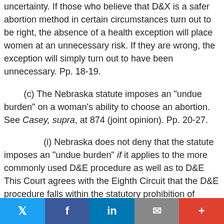uncertainty. If those who believe that D&X is a safer abortion method in certain circumstances turn out to be right, the absence of a health exception will place women at an unnecessary risk. If they are wrong, the exception will simply turn out to have been unnecessary. Pp. 18-19.
(c) The Nebraska statute imposes an "undue burden" on a woman's ability to choose an abortion. See Casey, supra, at 874 (joint opinion). Pp. 20-27.
(i) Nebraska does not deny that the statute imposes an "undue burden" if it applies to the more commonly used D&E procedure as well as to D&E This Court agrees with the Eighth Circuit that the D&E procedure falls within the statutory prohibition of intentionally delivering into the vagina a living fetus, or "a substantial portion thereof," for the purpose of performing a procedure that the perpetrator knows will kill the fetus. Because the evidence makes clear